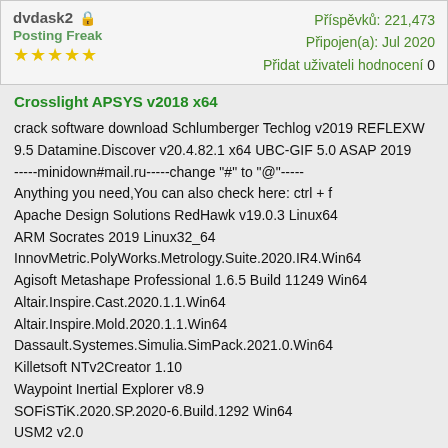dvdask2 [lock icon] Posting Freak ★★★★★ | Příspěvků: 221,473 Připojen(a): Jul 2020 Přidat uživateli hodnocení 0
Crosslight APSYS v2018 x64
crack software download Schlumberger Techlog v2019 REFLEXW 9.5 Datamine.Discover v20.4.82.1 x64 UBC-GIF 5.0 ASAP 2019 -----minidown#mail.ru-----change "#" to "@"-----
Anything you need,You can also check here: ctrl + f
Apache Design Solutions RedHawk v19.0.3 Linux64
ARM Socrates 2019 Linux32_64
InnovMetric.PolyWorks.Metrology.Suite.2020.IR4.Win64
Agisoft Metashape Professional 1.6.5 Build 11249 Win64
Altair.Inspire.Cast.2020.1.1.Win64
Altair.Inspire.Mold.2020.1.1.Win64
Dassault.Systemes.Simulia.SimPack.2021.0.Win64
Killetsoft NTv2Creator 1.10
Waypoint Inertial Explorer v8.9
SOFiSTiK.2020.SP.2020-6.Build.1292 Win64
USM2 v2.0
DNV GL GeniE v7.14
Mentor Graphics Modelsim Se-64 2019.4 Win64
Esko ArtPro+ 20.1 build 128
Sigasi Studio XPRT 4.10.3
VXWorks 7 R2 SP0620